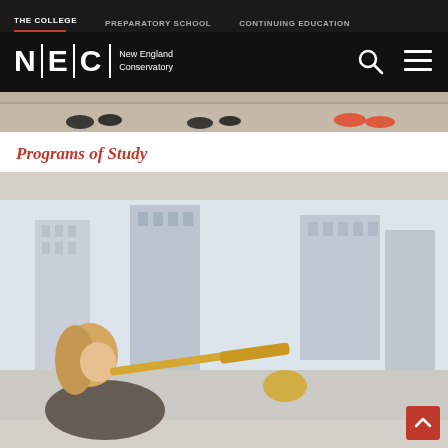THE COLLEGE | PREPARATORY SCHOOL | CONTINUING EDUCATION
[Figure (logo): New England Conservatory (NEC) logo with search and hamburger menu icons on black background]
[Figure (photo): Cropped photo showing feet/shoes of people walking on pavement]
Programs of Study
[Figure (photo): Woman playing trombone outdoors with Boston city skyline in the background]